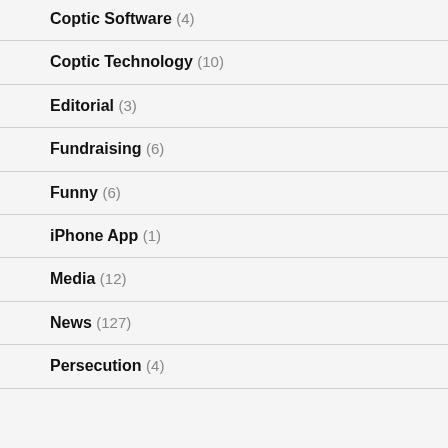Coptic Software (4)
Coptic Technology (10)
Editorial (3)
Fundraising (6)
Funny (6)
iPhone App (1)
Media (12)
News (127)
Persecution (4)